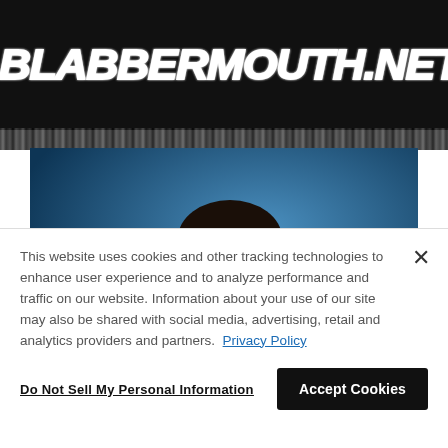BLABBERMOUTH.NET
[Figure (photo): A musician with dark curly hair looking down, playing guitar against a blue background]
This website uses cookies and other tracking technologies to enhance user experience and to analyze performance and traffic on our website. Information about your use of our site may also be shared with social media, advertising, retail and analytics providers and partners. Privacy Policy
Do Not Sell My Personal Information
Accept Cookies